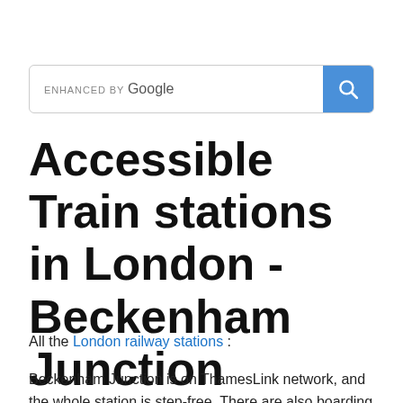[Figure (screenshot): Google search bar with 'ENHANCED BY Google' label and blue search button with magnifying glass icon]
Accessible Train stations in London - Beckenham Junction
All the London railway stations :
Beckenham Junction is on ThamesLink network, and the whole station is step-free. There are also boarding ramps available. The tramlink at Beckenham Junction is exceptionally wheelchair friendly and accessible. See pictures and further accessible transport detail from links